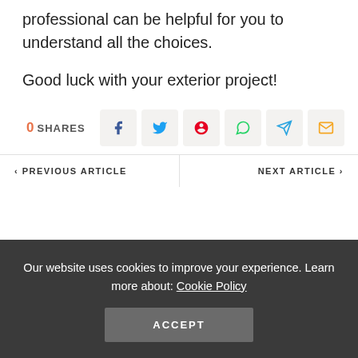professional can be helpful for you to understand all the choices.
Good luck with your exterior project!
0 SHARES
< PREVIOUS ARTICLE   NEXT ARTICLE >
Our website uses cookies to improve your experience. Learn more about: Cookie Policy
ACCEPT